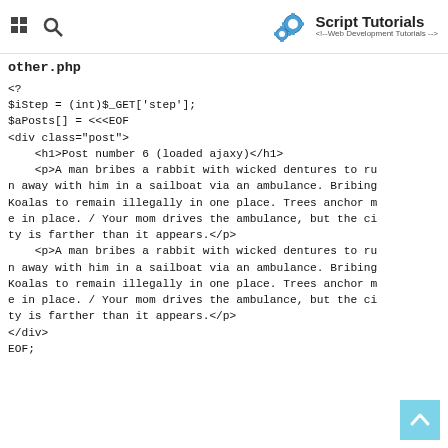Script Tutorials <!-- Web Development Tutorials -->
other.php
<?
$iStep = (int)$_GET['step'];
$aPosts[] = <<<EOF
<div class="post">
    <h1>Post number 6 (loaded ajaxy)</h1>
    <p>A man bribes a rabbit with wicked dentures to run away with him in a sailboat via an ambulance. Bribing Koalas to remain illegally in one place. Trees anchor me in place. / Your mom drives the ambulance, but the city is farther than it appears.</p>
    <p>A man bribes a rabbit with wicked dentures to run away with him in a sailboat via an ambulance. Bribing Koalas to remain illegally in one place. Trees anchor me in place. / Your mom drives the ambulance, but the city is farther than it appears.</p>
</div>
EOF;